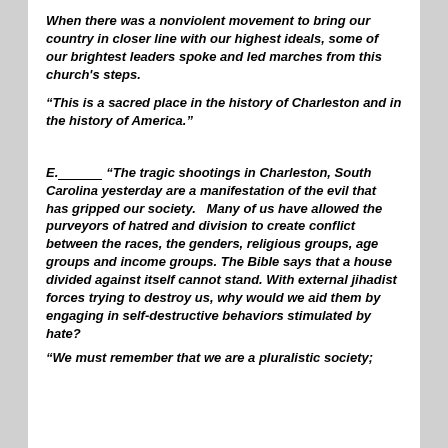When there was a nonviolent movement to bring our country in closer line with our highest ideals, some of our brightest leaders spoke and led marches from this church's steps.
“This is a sacred place in the history of Charleston and in the history of America.”
E.______ “The tragic shootings in Charleston, South Carolina yesterday are a manifestation of the evil that has gripped our society.   Many of us have allowed the purveyors of hatred and division to create conflict between the races, the genders, religious groups, age groups and income groups. The Bible says that a house divided against itself cannot stand. With external jihadist forces trying to destroy us, why would we aid them by engaging in self-destructive behaviors stimulated by hate?
“We must remember that we are a pluralistic society;